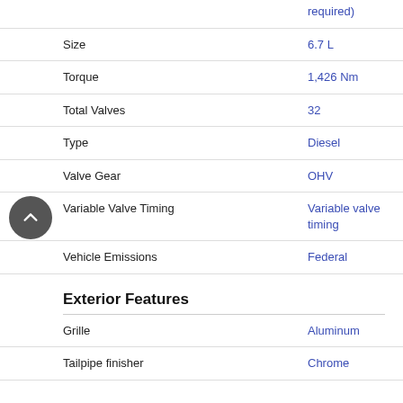| Attribute | Value |
| --- | --- |
| Size | 6.7 L |
| Torque | 1,426 Nm |
| Total Valves | 32 |
| Type | Diesel |
| Valve Gear | OHV |
| Variable Valve Timing | Variable valve timing |
| Vehicle Emissions | Federal |
Exterior Features
| Attribute | Value |
| --- | --- |
| Grille | Aluminum |
| Tailpipe finisher | Chrome |
Header
| Attribute | Value |
| --- | --- |
| Bed Length | 2,080 mm |
| Doors | 4 |
| Driven Wheels | Four-wheel |
| Engine Size | 6.7 L |